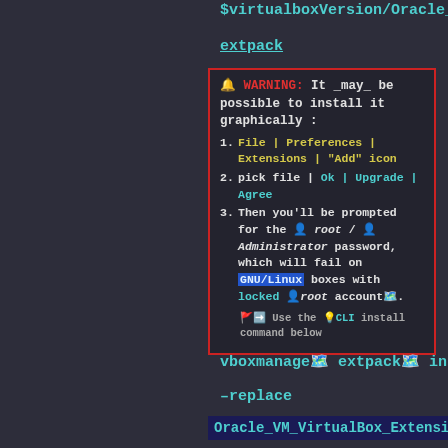$virtualboxVersion/Oracle_VM_Virtu
extpack
WARNING: It _may_ be possible to install it graphically :
1. File | Preferences | Extensions | "Add" icon
2. pick file | Ok | Upgrade | Agree
3. Then you'll be prompted for the root / Administrator password, which will fail on GNU/Linux boxes with locked root account.
NB: Use the CLI install command below
vboxmanage extpack install --replace
Oracle_VM_VirtualBox_Extension_Pac